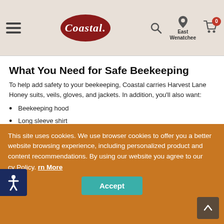Coastal – East Wenatchee – Navigation header with hamburger menu, logo, search, location, and cart
What You Need for Safe Beekeeping
To help add safety to your beekeeping, Coastal carries Harvest Lane Honey suits, veils, gloves, and jackets. In addition, you'll also want:
Beekeeping hood
Long sleeve shirt
Long pants
Boots
Leather gloves
Smoker
Hive tool
How to Put on a Beekeeping Suit
This site uses cookies. We use browser cookies to offer you a better website browsing experience, including personalized product and content recommendations. By using our website you agree to our Privacy Policy. Learn More